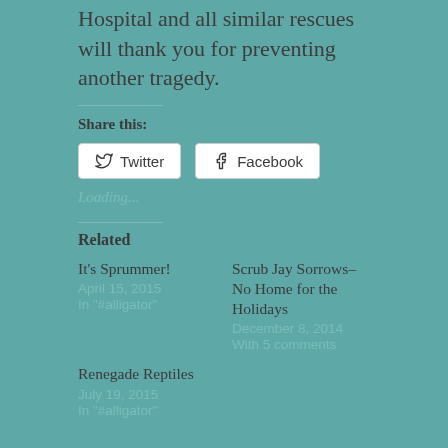Hospital and all similar rescues will thank you for preventing another tragedy.
Share this:
Twitter  Facebook
Loading...
Related
It's Sprummer!
April 15, 2015
In "#alligator"
Scrub Jay Sorrows–No Home for the Holidays
December 8, 2014
With 5 comments
Renegade Reptiles
July 19, 2015
In "#alligator"